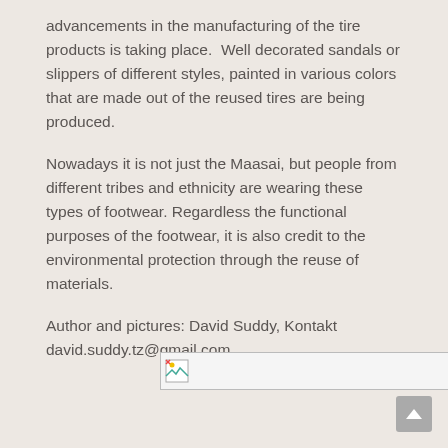advancements in the manufacturing of the tire products is taking place.  Well decorated sandals or slippers of different styles, painted in various colors that are made out of the reused tires are being produced.
Nowadays it is not just the Maasai, but people from different tribes and ethnicity are wearing these types of footwear. Regardless the functional purposes of the footwear, it is also credit to the environmental protection through the reuse of materials.
Author and pictures: David Suddy, Kontakt david.suddy.tz@gmail.com
[Figure (photo): Broken image placeholder shown as a small icon with a border box]